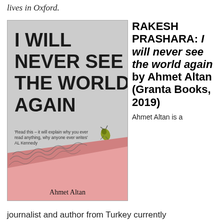lives in Oxford.
[Figure (photo): Book cover of 'I Will Never See The World Again' by Ahmet Altan, published by Granta Books. The cover has a grey background with large bold sans-serif title text, a small illustrated bug, a diagonal pink/red band with looping handwritten-style lines, and the author's name at the bottom.]
RAKESH PRASHARA: I will never see the world again by Ahmet Altan (Granta Books, 2019)
Ahmet Altan is a journalist and author from Turkey currently